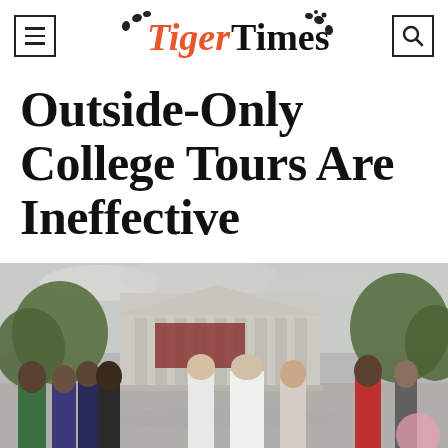Tiger Times
Outside-Only College Tours Are Ineffective
[Figure (photo): A group of students and adults on an outdoor college tour, standing in front of a neoclassical building with columns. A tour guide in a white shirt stands in the center addressing the group. Trees and a cloudy sky are visible in the background.]